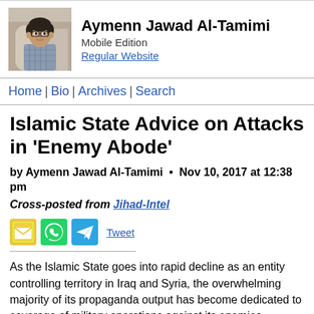[Figure (photo): Portrait photo of Aymenn Jawad Al-Tamimi, a young man with dark hair wearing a checked shirt, photographed outdoors]
Aymenn Jawad Al-Tamimi
Mobile Edition
Regular Website
Home | Bio | Archives | Search
Islamic State Advice on Attacks in 'Enemy Abode'
by Aymenn Jawad Al-Tamimi • Nov 10, 2017 at 12:38 pm
Cross-posted from Jihad-Intel
[Figure (other): Social sharing icons: email, WhatsApp, Telegram, and Tweet link]
As the Islamic State goes into rapid decline as an entity controlling territory in Iraq and Syria, the overwhelming majority of its propaganda output has become dedicated to coverage of military operations against its enemies. Alongside that shift has come increasing emphasis on the idea that the Islamic State will still live on its 'soldiers' conduct operations in the heart of enemy territory. The latest issue of the Islamic State's al-Naba' newsletter